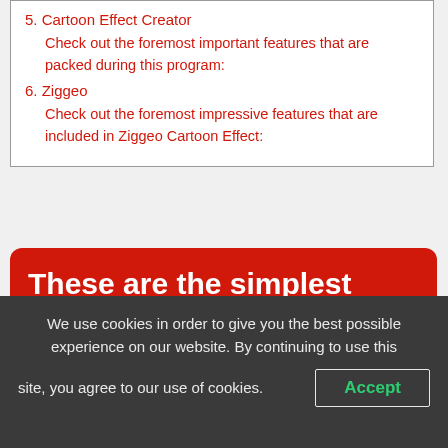5. Cartoon Effect Creator
Check out the foremost important features that are packed during this program:
6. Ziggeo
Check out the foremost impressive features that are included in Ziggeo Cartoon Effect:
These are the simplest video to cartoon converter software for Windows PCs
We use cookies in order to give you the best possible experience on our website. By continuing to use this site, you agree to our use of cookies.
Accept